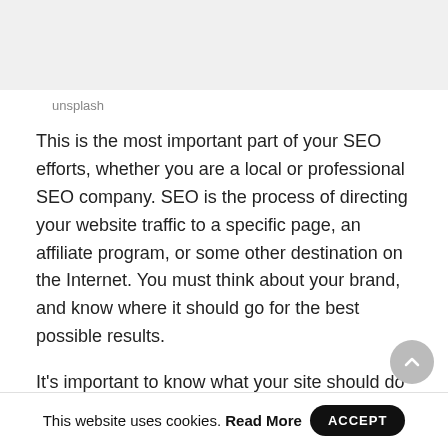[Figure (photo): Light gray image placeholder at top of page]
unsplash
This is the most important part of your SEO efforts, whether you are a local or professional SEO company. SEO is the process of directing your website traffic to a specific page, an affiliate program, or some other destination on the Internet. You must think about your brand, and know where it should go for the best possible results.
It's important to know what your site should do well in order to get more organic traffic and improve your rankings. You want to focus on keywords that your site is already strong in, and get them to rank for these keyword phrases. But it's pretty easy to get distracted by all of the other things you can do to
This website uses cookies. Read More   ACCEPT